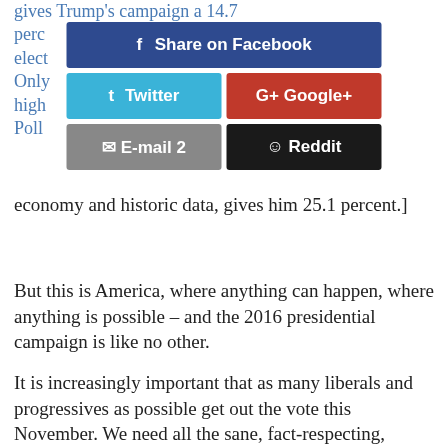gives Trump's campaign a 14.7 percent chance of winning the election... Polls Only... Polls slightly higher... economy and historic data, gives him 25.1 percent.]
[Figure (screenshot): Social media sharing buttons: Share on Facebook (blue), Twitter (cyan), Google+ (red), E-mail 2 (grey), Reddit (black)]
But this is America, where anything can happen, where anything is possible – and the 2016 presidential campaign is like no other.
It is increasingly important that as many liberals and progressives as possible get out the vote this November. We need all the sane, fact-respecting, science-believing people to rise up and have their voice heard – for voting is one of the strongest tools – indeed, the only tool for many of us – to influence government.